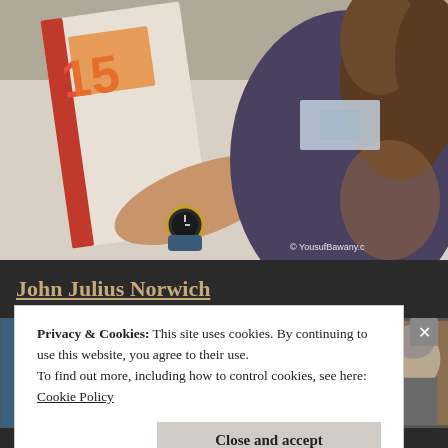[Figure (photo): Man with curly hair and beard, wearing a dark t-shirt and a watch, signing or handling a book/magazine with number 15 visible on the cover. Shot from above/side angle. Watermark: © YousufBawany.c]
John Julius Norwich
[Figure (photo): Thumbnail 1: Crowd scene with people, one in yellow top]
[Figure (photo): Thumbnail 2: Close-up of a signed document or paper with handwriting]
[Figure (photo): Thumbnail 3: Dubai text visible, man with grey hair]
Privacy & Cookies: This site uses cookies. By continuing to use this website, you agree to their use.
To find out more, including how to control cookies, see here:
Cookie Policy
Close and accept